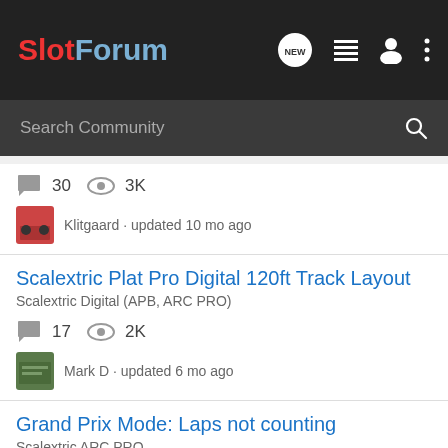SlotForum
30 replies, 3K views, Klitgaard · updated 10 mo ago
Scalextric Plat Pro Digital 120ft Track Layout
Scalextric Digital (APB, ARC PRO)
17 replies, 2K views, Mark D · updated 6 mo ago
Grand Prix Mode: Laps not counting
Scalextric ARC PRO
2 replies, 2K views